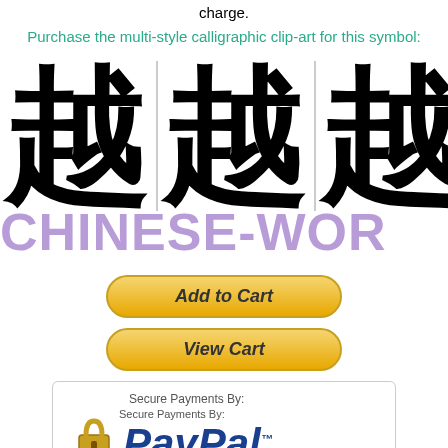charge.
Purchase the multi-style calligraphic clip-art for this symbol:
[Figure (illustration): Four Chinese calligraphic characters (越) displayed in a row separated by thin vertical lines, with the text 'CHINESE-WOR' overlaid in large purple/lavender letters at the bottom]
[Figure (illustration): Orange gradient 'Add to Cart' button with italic bold text and rounded border]
[Figure (illustration): Orange gradient 'View Cart' button with italic bold text and rounded border]
[Figure (illustration): PayPal secure payments box showing a padlock icon, PayPal logo, VISA text, MasterCard and American Express card icons, and 'NO PAYPAL ACCOUNT NEEDED!' text]
Note: a ZIP file folder which contains several clip-art PNG